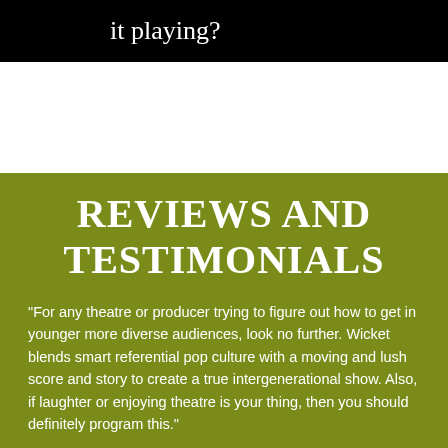it playing?
REVIEWS AND TESTIMONIALS
“For any theatre or producer trying to figure out how to get in younger more diverse audiences, look no further. Wicket blends smart referential pop culture with a moving and lush score and story to create a true intergenerational show. Also, if laughter or enjoying theatre is your thing, then you should definitely program this.”
Sean Daniels
Artistic Director of Arizona Theatre Company